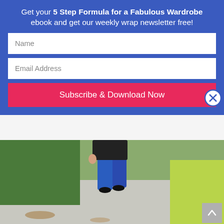Get your 5 Step Formula for a Fabulous Wardrobe ebook and get our weekly wrap newsletter free!
[Figure (screenshot): Web form with Name and Email Address fields and a Subscribe & Download Now button on a blue background, with a close (X) button on the right]
[Figure (photo): A person wearing blue jeans and a dark top standing on a sidewalk with green bushes and grass in the background]
Creating Your Ideal Column of Colour
Body Shapes, Colour, Wearing Colour • August 5, 2020 • 1 Comment
Want to look taller and or slimmer?  The